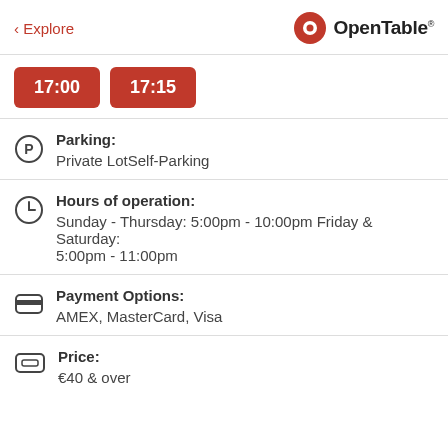< Explore    OpenTable
17:00   17:15
Parking: Private LotSelf-Parking
Hours of operation: Sunday - Thursday: 5:00pm - 10:00pm Friday & Saturday: 5:00pm - 11:00pm
Payment Options: AMEX, MasterCard, Visa
Price: €40 & over